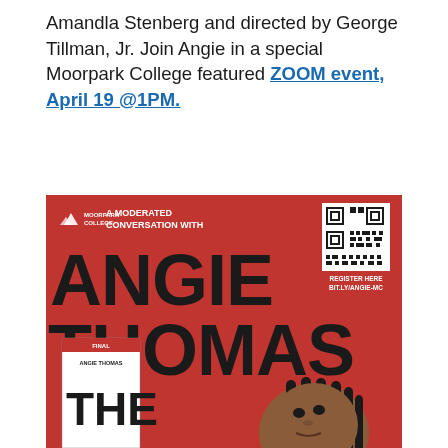Amandla Stenberg and directed by George Tillman, Jr. Join Angie in a special Moorpark College featured ZOOM event, April 19 @1PM.
[Figure (illustration): Red promotional poster for a Moorpark College moderated conversation with Angie Thomas. Features large black text 'ANGIE THOMAS', Moorpark College logo, QR code with 'REGISTER HERE BIT.LY/ANGIE-MC', and a photo of Angie Thomas along with her book cover.]